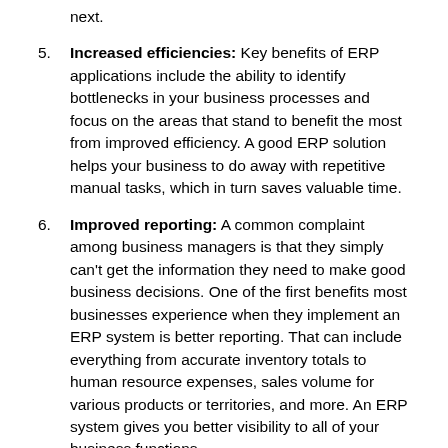next.
5. Increased efficiencies: Key benefits of ERP applications include the ability to identify bottlenecks in your business processes and focus on the areas that stand to benefit the most from improved efficiency. A good ERP solution helps your business to do away with repetitive manual tasks, which in turn saves valuable time.
6. Improved reporting: A common complaint among business managers is that they simply can't get the information they need to make good business decisions. One of the first benefits most businesses experience when they implement an ERP system is better reporting. That can include everything from accurate inventory totals to human resource expenses, sales volume for various products or territories, and more. An ERP system gives you better visibility to all of your business functions.
7. Better profitability: Unfortunately, too many business executives have limited insight into the factors that drive profitability. An ERP system helps